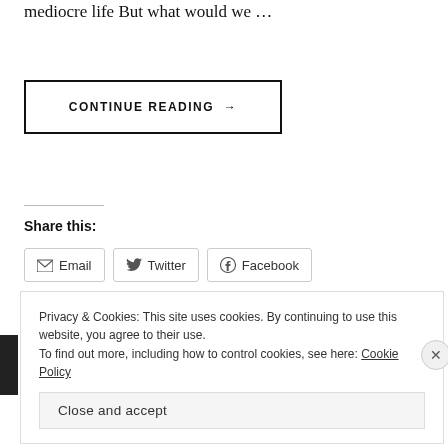mediocre life But what would we …
CONTINUE READING →
Share this:
Email   Twitter   Facebook
Loading...
Privacy & Cookies: This site uses cookies. By continuing to use this website, you agree to their use.
To find out more, including how to control cookies, see here: Cookie Policy
Close and accept